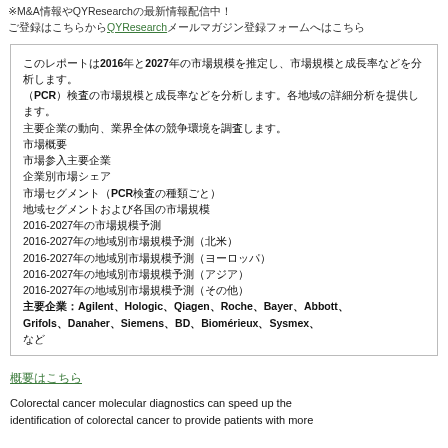※M&A情報やQYResearchの最新情報配信中！ご登録はこちらからQYResearchメールマガジン登録フォームへはこちら
本レポートの概要（日本語）

このレポートは2016年と2027年の市場規模を推定し、PCR検査の市場規模と成長率などを分析します。
市場概要
市場参入主要企業
企業別市場シェア
市場セグメント（PCR検査の種類ごと）
地域セグメントおよび各国の市場規模
2016-2027年の市場規模予測
2016-2027年の地域別市場規模予測（北米）
2016-2027年の地域別市場規模予測（ヨーロッパ）
2016-2027年の地域別市場規模予測（アジア）
2016-2027年の地域別市場規模予測（その他）
主要企業：Agilent、Hologic、Qiagen、Roche、Bayer、Abbott、Grifols、Danaher、Siemens、BD、Biomérieux、Sysmex、など
概要はこちら
Colorectal cancer molecular diagnostics can speed up the identification of colorectal cancer to provide patients with more